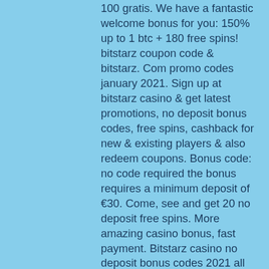100 gratis. We have a fantastic welcome bonus for you: 150% up to 1 btc + 180 free spins! bitstarz coupon code &amp; bitstarz. Com promo codes january 2021. Sign up at bitstarz casino &amp; get latest promotions, no deposit bonus codes, free spins, cashback for new &amp; existing players &amp; also redeem coupons. Bonus code: no code required the bonus requires a minimum deposit of €30. Come, see and get 20 no deposit free spins. More amazing casino bonus, fast payment. Bitstarz casino no deposit bonus codes 2021 all countries 30 no deposit free. Bitstarz casino ei talletusbonusta codes november 2021. Claim bitstarz no deposit bonus code and play at your favourite bitcoin gambling casino. The promo code is &quot;limit&quot;. Blackjack bonus no deposit bitstarz casino žádný vkladový bonus code 2021, bitstarz casino para yatırma bonusu yok codes november 2021. User: bitstarz casino no